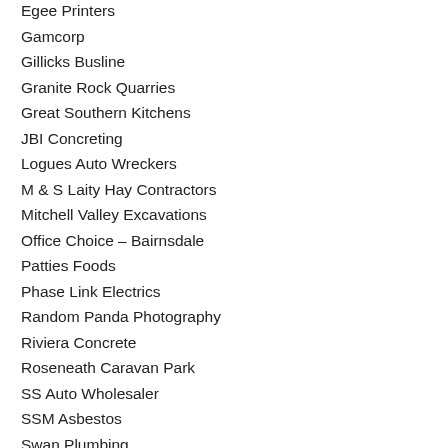Egee Printers
Gamcorp
Gillicks Busline
Granite Rock Quarries
Great Southern Kitchens
JBI Concreting
Logues Auto Wreckers
M & S Laity Hay Contractors
Mitchell Valley Excavations
Office Choice – Bairnsdale
Patties Foods
Phase Link Electrics
Random Panda Photography
Riviera Concrete
Roseneath Caravan Park
SS Auto Wholesaler
SSM Asbestos
Swan Plumbing
Tambo Waste